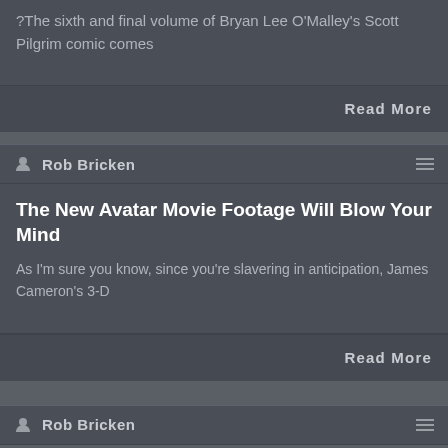?The sixth and final volume of Bryan Lee O'Malley's Scott Pilgrim comic comes
Read More
Rob Bricken
The New Avatar Movie Footage Will Blow Your Mind
As I'm sure you know, since you're slavering in anticipation, James Cameron's 3-D
Read More
Rob Bricken